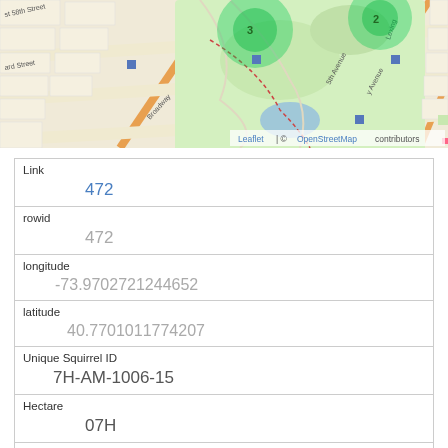[Figure (map): OpenStreetMap tile showing Central Park area in New York City with green heat-map overlay markers numbered 2 and 3, street grid with labels including 58th Street, Broadway, 5th Avenue, Lexington Avenue. Blue square markers visible. Leaflet | © OpenStreetMap contributors credit shown.]
| Link | 472 |
| rowid | 472 |
| longitude | -73.9702721244652 |
| latitude | 40.7701011774207 |
| Unique Squirrel ID | 7H-AM-1006-15 |
| Hectare | 07H |
| Shift | AM |